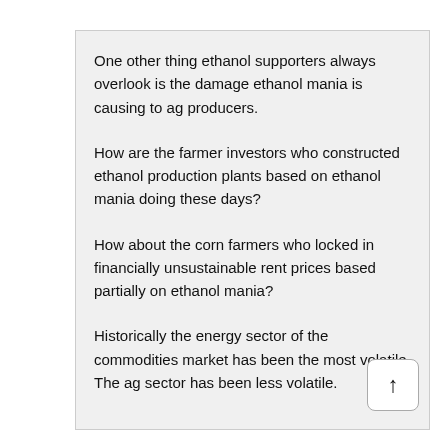One other thing ethanol supporters always overlook is the damage ethanol mania is causing to ag producers.
How are the farmer investors who constructed ethanol production plants based on ethanol mania doing these days?
How about the corn farmers who locked in financially unsustainable rent prices based partially on ethanol mania?
Historically the energy sector of the commodities market has been the most volatile. The ag sector has been less volatile.